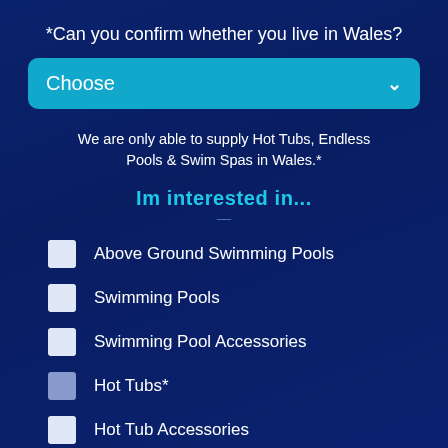*Can you confirm whether you live in Wales?
[Figure (screenshot): A dropdown form field with cyan/teal background showing the placeholder text 'Choose' and a dropdown arrow]
We are only able to supply Hot Tubs, Endless Pools & Swim Spas in Wales.*
Im interested in...
Above Ground Swimming Pools
Swimming Pools
Swimming Pool Accessories
Hot Tubs*
Hot Tub Accessories
Swim Spas*